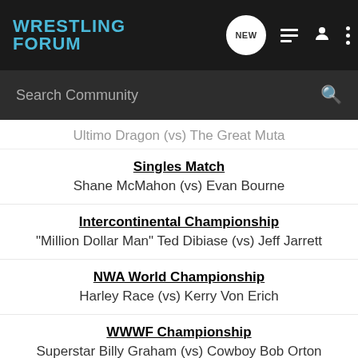WRESTLING FORUM
Search Community
Ultimo Dragon (vs) The Great Muta
Singles Match
Shane McMahon (vs) Evan Bourne
Intercontinental Championship
"Million Dollar Man" Ted Dibiase (vs) Jeff Jarrett
NWA World Championship
Harley Race (vs) Kerry Von Erich
WWWF Championship
Superstar Billy Graham (vs) Cowboy Bob Orton
WWE Title Match
The Prime Time Players (vs) The Spirit Squad